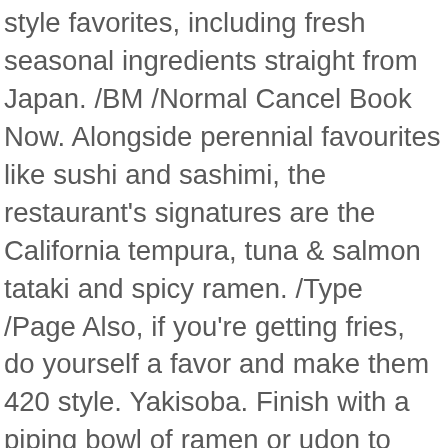style favorites, including fresh seasonal ingredients straight from Japan. /BM /Normal Cancel Book Now. Alongside perennial favourites like sushi and sashimi, the restaurant's signatures are the California tempura, tuna & salmon tataki and spicy ramen. /Type /Page Also, if you're getting fries, do yourself a favor and make them 420 style. Yakisoba. Finish with a piping bowl of ramen or udon to leave all your senses completely satisfied. OTO JOE … Kyoto Joe; Porterhouse; Tokio Joe; Corporate. Or every day of the week! >> Please contact the restaurant directly for reservations of 7 and above. Starters. The Menu for Kyoto Joe from Hong Kong has 49 Dishes. Using the finest ingredients, Kyoto Joe's creations are the perfect blend of traditional Japanese fare with a modern twist. Includes the menu, user reviews, photos, and 71 dishes